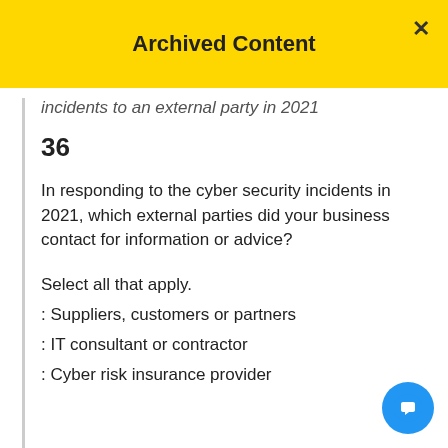Archived Content
incidents to an external party in 2021
36
In responding to the cyber security incidents in 2021, which external parties did your business contact for information or advice?
Select all that apply.
: Suppliers, customers or partners
: IT consultant or contractor
: Cyber risk insurance provider